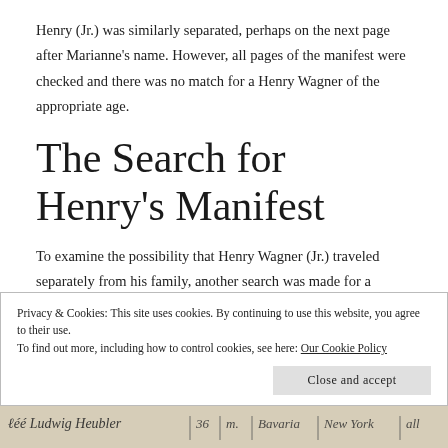Henry (Jr.) was similarly separated, perhaps on the next page after Marianne's name. However, all pages of the manifest were checked and there was no match for a Henry Wagner of the appropriate age.
The Search for Henry's Manifest
To examine the possibility that Henry Wagner (Jr.) traveled separately from his family, another search was made for a manifest for Henry Wagner, born circa 1827-1829 in Germany, arriving in the U.S. circa 1855. A possible match was discovered (Figure 5), which shows a single
Privacy & Cookies: This site uses cookies. By continuing to use this website, you agree to their use.
To find out more, including how to control cookies, see here: Our Cookie Policy
[Figure (photo): Bottom strip showing a handwritten manuscript document with cursive text, partially visible.]